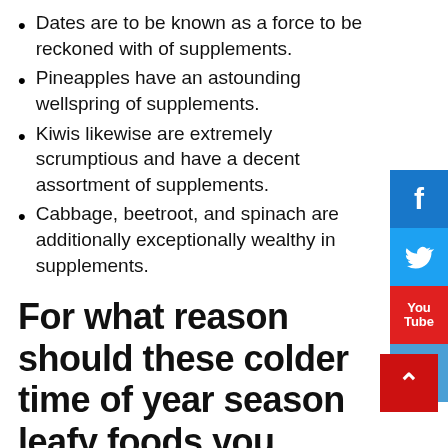Dates are to be known as a force to be reckoned with of supplements.
Pineapples have an astounding wellspring of supplements.
Kiwis likewise are extremely scrumptious and have a decent assortment of supplements.
Cabbage, beetroot, and spinach are additionally exceptionally wealthy in supplements.
For what reason should these colder time of year season leafy foods you ought to devour
Eating reasonable winter season products of the